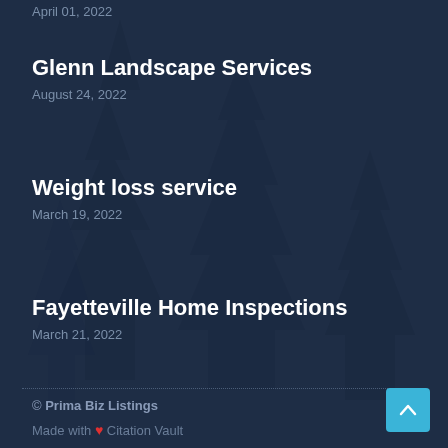April 01, 2022
Glenn Landscape Services
August 24, 2022
Weight loss service
March 19, 2022
Fayetteville Home Inspections
March 21, 2022
© Prima Biz Listings
Made with ❤ Citation Vault